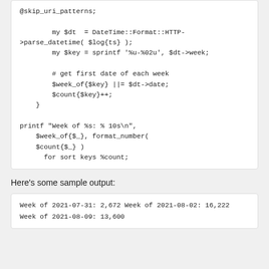@skip_uri_patterns;

        my $dt  = DateTime::Format::HTTP->parse_datetime( $log{ts} );
        my $key = sprintf '%u-%02u', $dt->week;

        # get first date of each week
        $week_of{$key} ||= $dt->date;
        $count{$key}++;
    }

printf "Week of %s: % 10s\n",
    $week_of{$_}, format_number(
    $count{$_} )
      for sort keys %count;
Here's some sample output:
Week of 2021-07-31:       2,672
Week of 2021-08-02:      16,222
Week of 2021-08-09:      13,600